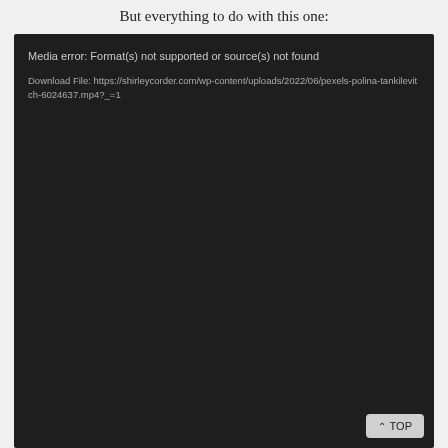But everything to do with this one:
[Figure (screenshot): Dark media player box showing error message: 'Media error: Format(s) not supported or source(s) not found' with a download file link: https://shirleycorder.com/wp-content/uploads/2022/06/pexels-polina-tankilevitch-6024637.mp4?_=1]
^ TOP